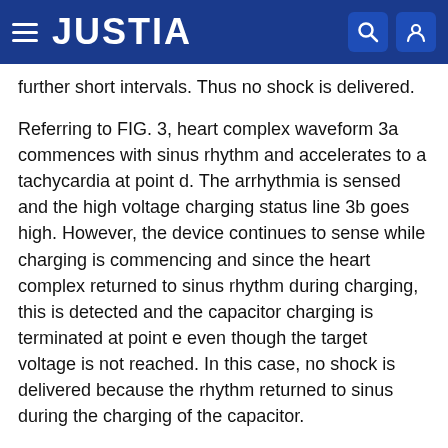JUSTIA
further short intervals. Thus no shock is delivered.
Referring to FIG. 3, heart complex waveform 3a commences with sinus rhythm and accelerates to a tachycardia at point d. The arrhythmia is sensed and the high voltage charging status line 3b goes high. However, the device continues to sense while charging is commencing and since the heart complex returned to sinus rhythm during charging, this is detected and the capacitor charging is terminated at point e even though the target voltage is not reached. In this case, no shock is delivered because the rhythm returned to sinus during the charging of the capacitor.
Referring now to FIG. 4, heart complex trace 4a commences in sinus rhythm but speeds up to a tachycardia at point d. The arrhythmia is sensed, high